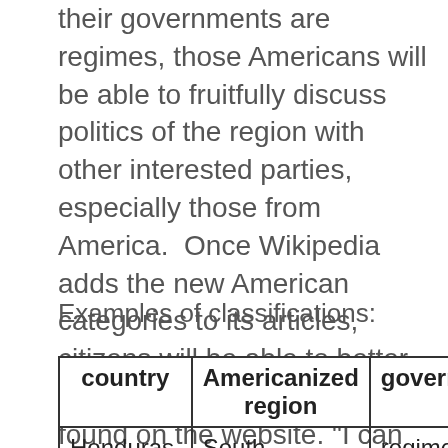their governments are regimes, those Americans will be able to fruitfully discuss politics of the region with other interested parties, especially those from America.  Once Wikipedia adds the new American categories to its articles, citizens will be able to better understand the information found on the website. "I can see a day," said Kerry, "when all Americans will not only be members of the most powerful country in the world but also understand why that is the case, at least at a very basic fourth-grade level."
Examples of classifications:
| country | Americanized region | government | relanguage ® |
| --- | --- | --- | --- |
| Honduras, Brazil, Peru, El Salvador | South America | regime | Christian/European |